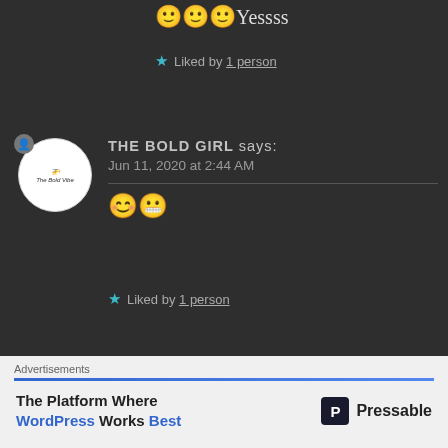🙂🙂🙂Yessss
★ Liked by 1 person
THE BOLD GIRL says: Jun 11, 2020 at 2:44 AM
😊😬
★ Liked by 1 person
H.R PHOENIX, AUTHOR
Advertisements
The Platform Where WordPress Works Best
Pressable